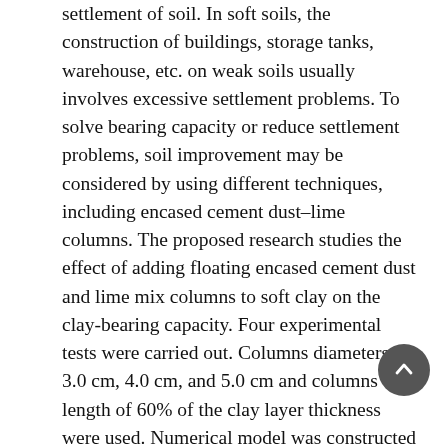settlement of soil. In soft soils, the construction of buildings, storage tanks, warehouse, etc. on weak soils usually involves excessive settlement problems. To solve bearing capacity or reduce settlement problems, soil improvement may be considered by using different techniques, including encased cement dust–lime columns. The proposed research studies the effect of adding floating encased cement dust and lime mix columns to soft clay on the clay-bearing capacity. Four experimental tests were carried out. Columns diameters of 3.0 cm, 4.0 cm, and 5.0 cm and columns length of 60% of the clay layer thickness were used. Numerical model was constructed and verified using commercial finite element package (PLAXIS 2D, V8.5). The verified model was used to study the effect of distributing columns around the footing at different distances. The study showed that the floating cement dust–lime columns enhanced the clay-bearing capacity